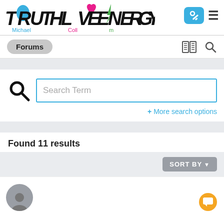[Figure (logo): TRUTHLOVEENERGY logo with colorful icons (blue droplet, pink heart, green lightning bolt) and names Michael, Coll, m below]
[Figure (screenshot): Brush icon button in blue rounded square and hamburger menu icon]
Forums
[Figure (screenshot): Newspaper icon and search magnifier icon in nav bar]
[Figure (screenshot): Search bar with large magnifying glass icon and text input field with placeholder 'Search Term']
+ More search options
Found 11 results
[Figure (screenshot): SORT BY button with dropdown arrow]
[Figure (screenshot): User avatar (gray circle with person silhouette) and orange chat bubble icon]